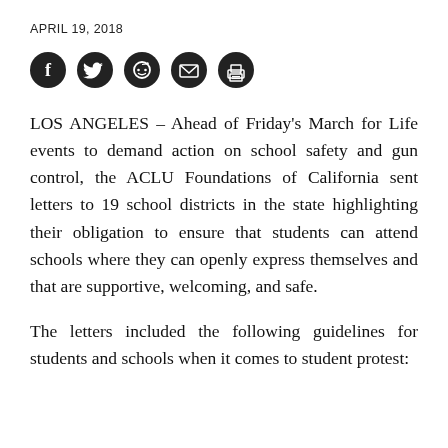APRIL 19, 2018
[Figure (other): Row of five circular social media sharing icons: Facebook, Twitter, Reddit, Email, Print]
LOS ANGELES – Ahead of Friday's March for Life events to demand action on school safety and gun control, the ACLU Foundations of California sent letters to 19 school districts in the state highlighting their obligation to ensure that students can attend schools where they can openly express themselves and that are supportive, welcoming, and safe.
The letters included the following guidelines for students and schools when it comes to student protest: